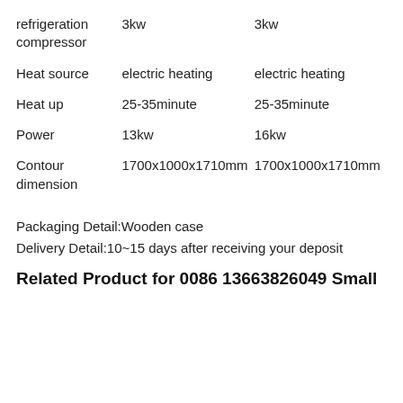|  | Column 1 | Column 2 |
| --- | --- | --- |
| refrigeration compressor | 3kw | 3kw |
| Heat source | electric heating | electric heating |
| Heat up | 25-35minute | 25-35minute |
| Power | 13kw | 16kw |
| Contour dimension | 1700x1000x1710mm | 1700x1000x1710mm |
Packaging Detail:Wooden case
Delivery Detail:10~15 days after receiving your deposit
Related Product for 0086 13663826049 Small